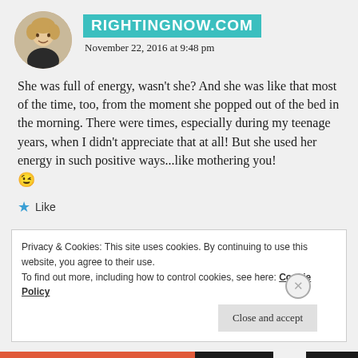RIGHTINGNOW.COM — November 22, 2016 at 9:48 pm
She was full of energy, wasn't she? And she was like that most of the time, too, from the moment she popped out of the bed in the morning. There were times, especially during my teenage years, when I didn't appreciate that at all! But she used her energy in such positive ways...like mothering you! 😉
★ Like
Privacy & Cookies: This site uses cookies. By continuing to use this website, you agree to their use.
To find out more, including how to control cookies, see here: Cookie Policy
[Close and accept]